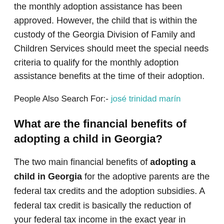the monthly adoption assistance has been approved. However, the child that is within the custody of the Georgia Division of Family and Children Services should meet the special needs criteria to qualify for the monthly adoption assistance benefits at the time of their adoption.
People Also Search For:- josé trinidad marín
What are the financial benefits of adopting a child in Georgia?
The two main financial benefits of adopting a child in Georgia for the adoptive parents are the federal tax credits and the adoption subsidies. A federal tax credit is basically the reduction of your federal tax income in the exact year in which you adopt an child.
Also Read: Gold Loans: Understanding Your Interest Rates